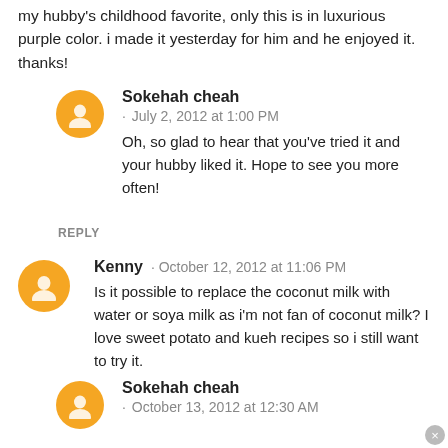my hubby's childhood favorite, only this is in luxurious purple color. i made it yesterday for him and he enjoyed it. thanks!
Sokehah cheah · July 2, 2012 at 1:00 PM
Oh, so glad to hear that you've tried it and your hubby liked it. Hope to see you more often!
REPLY
Kenny · October 12, 2012 at 11:06 PM
Is it possible to replace the coconut milk with water or soya milk as i'm not fan of coconut milk? I love sweet potato and kueh recipes so i still want to try it.
Sokehah cheah · October 13, 2012 at 12:30 AM